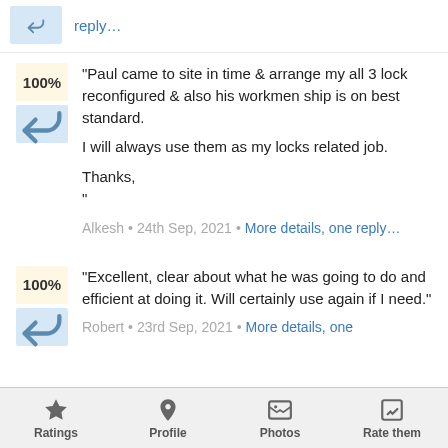reply…
"Paul came to site in time & arrange my all 3 lock reconfigured & also his workmen ship is on best standard.

I will always use them as my locks related job.

Thanks,
"
Alkesh • 24th Sep, 2021 • More details, one reply…
"Excellent, clear about what he was going to do and efficient at doing it. Will certainly use again if I need."
Robert • 23rd Sep, 2021 • More details, one
Ratings  Profile  Photos  Rate them